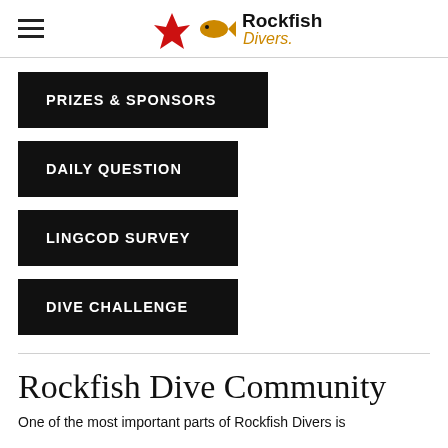Rockfish Divers
PRIZES & SPONSORS
DAILY QUESTION
LINGCOD SURVEY
DIVE CHALLENGE
Rockfish Dive Community
One of the most important parts of Rockfish Divers is...